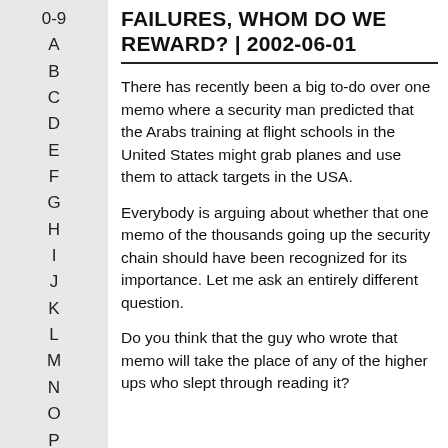0-9 A B C D E F G H I J K L M N O P
FAILURES, WHOM DO WE REWARD? | 2002-06-01
There has recently been a big to-do over one memo where a security man predicted that the Arabs training at flight schools in the United States might grab planes and use them to attack targets in the USA.
Everybody is arguing about whether that one memo of the thousands going up the security chain should have been recognized for its importance. Let me ask an entirely different question.
Do you think that the guy who wrote that memo will take the place of any of the higher ups who slept through reading it?